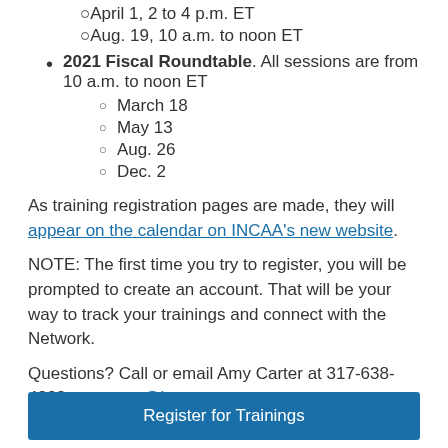April 1, 2 to 4 p.m. ET
Aug. 19, 10 a.m. to noon ET
2021 Fiscal Roundtable. All sessions are from 10 a.m. to noon ET
March 18
May 13
Aug. 26
Dec. 2
As training registration pages are made, they will appear on the calendar on INCAA's new website.
NOTE: The first time you try to register, you will be prompted to create an account. That will be your way to track your trainings and connect with the Network.
Questions? Call or email Amy Carter at 317-638-4232 or acarter@incap.org.